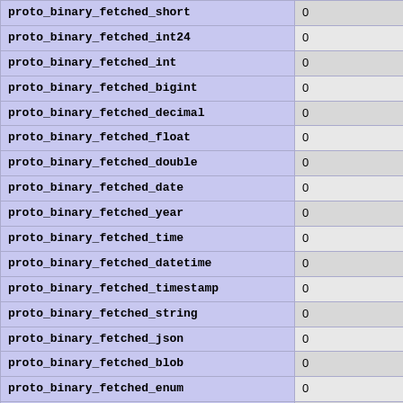| proto_binary_fetched_short | 0 |
| proto_binary_fetched_int24 | 0 |
| proto_binary_fetched_int | 0 |
| proto_binary_fetched_bigint | 0 |
| proto_binary_fetched_decimal | 0 |
| proto_binary_fetched_float | 0 |
| proto_binary_fetched_double | 0 |
| proto_binary_fetched_date | 0 |
| proto_binary_fetched_year | 0 |
| proto_binary_fetched_time | 0 |
| proto_binary_fetched_datetime | 0 |
| proto_binary_fetched_timestamp | 0 |
| proto_binary_fetched_string | 0 |
| proto_binary_fetched_json | 0 |
| proto_binary_fetched_blob | 0 |
| proto_binary_fetched_enum | 0 |
| proto_binary_fetched_set | 0 |
| proto_binary_fetched_geometry | 0 |
| proto_binary_fetched_other | 0 |
| init_command_executed_count | 0 |